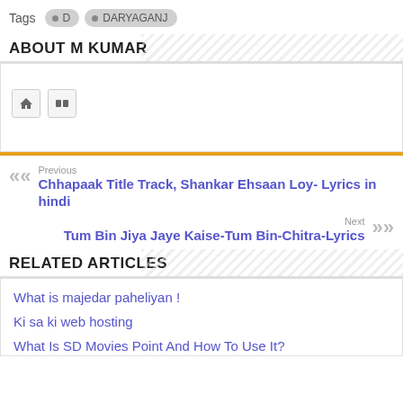Tags  D  DARYAGANJ
ABOUT M KUMAR
[Figure (other): Author box with home icon and Flickr icon buttons]
Previous
Chhapaak Title Track, Shankar Ehsaan Loy- Lyrics in hindi
Next
Tum Bin Jiya Jaye Kaise-Tum Bin-Chitra-Lyrics
RELATED ARTICLES
What is majedar paheliyan !
Ki sa ki web hosting
What Is SD Movies Point And How To Use It?